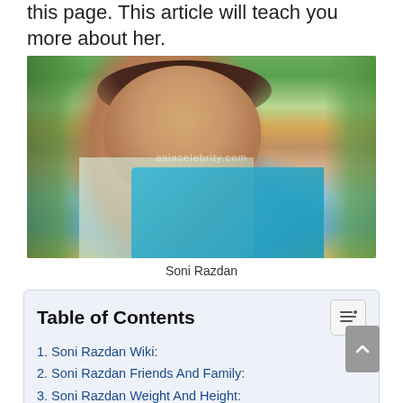this page. This article will teach you more about her.
[Figure (photo): Photo of Soni Razdan wearing a blue saree and light embroidered blouse with gold jewelry, standing outdoors with palm trees and green foliage in background. Watermark: asiacelebrity.com]
Soni Razdan
Table of Contents
1. Soni Razdan Wiki:
2. Soni Razdan Friends And Family:
3. Soni Razdan Weight And Height: